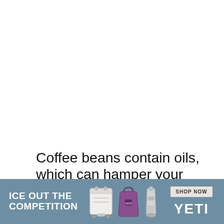Coffee beans contain oils, which can hamper your blades if ground on high speed for too long. This is why it’s recommended that you always use NutriBullet coffee beans at its lowest
[Figure (other): Advertisement banner for YETI brand. Dark teal/steel blue background. Left side shows bold white text 'ICE OUT THE COMPETITION'. Center shows YETI product images including white cooler, purple tote bag, and silver tumbler. Right side shows 'SHOP NOW' button and YETI logo in white.]